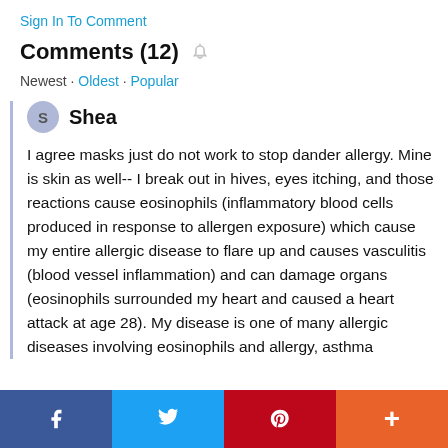Sign In To Comment
Comments (12)
Newest · Oldest · Popular
Shea
I agree masks just do not work to stop dander allergy. Mine is skin as well-- I break out in hives, eyes itching, and those reactions cause eosinophils (inflammatory blood cells produced in response to allergen exposure) which cause my entire allergic disease to flare up and causes vasculitis (blood vessel inflammation) and can damage organs (eosinophils surrounded my heart and caused a heart attack at age 28). My disease is one of many allergic diseases involving eosinophils and allergy, asthma
[Figure (infographic): Social sharing bar with Facebook, Twitter, Pinterest, and More (+) buttons]